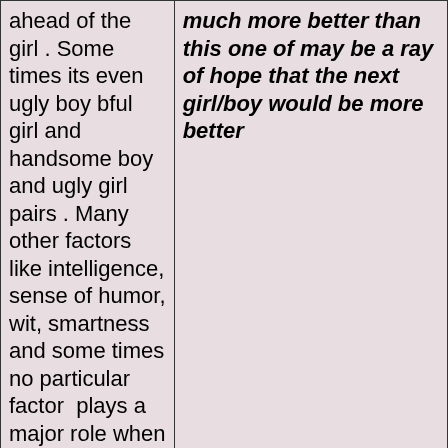| ahead of the girl . Some times its even ugly boy bful girl and handsome boy and ugly girl pairs . Many other factors like intelligence, sense of humor, wit, smartness and some times no particular factor  plays a major role when both get attracted. | much more better than this one of may be a ray of hope that the next girl/boy would be more better |
| Age is not a very important factor. Most of the time others... | The societies' norm must and should meet. Boy should be elder to girl by a minimum of 2-3yrs but a boy who is 35 will always marry a girl of 20 and so it... |